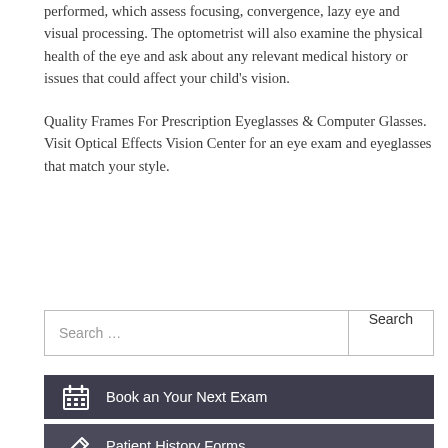performed, which assess focusing, convergence, lazy eye and visual processing. The optometrist will also examine the physical health of the eye and ask about any relevant medical history or issues that could affect your child's vision.
Quality Frames For Prescription Eyeglasses & Computer Glasses. Visit Optical Effects Vision Center for an eye exam and eyeglasses that match your style.
Search ...
Book an Your Next Exam
Patient History Forms